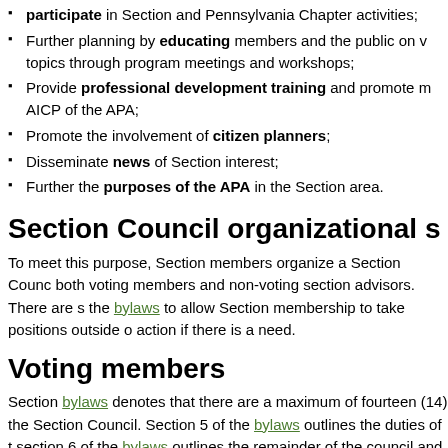participate in Section and Pennsylvania Chapter activities;
Further planning by educating members and the public on various topics through program meetings and workshops;
Provide professional development training and promote membership in AICP of the APA;
Promote the involvement of citizen planners;
Disseminate news of Section interest;
Further the purposes of the APA in the Section area.
Section Council organizational s
To meet this purpose, Section members organize a Section Counc... both voting members and non-voting section advisors. There are s... the bylaws to allow Section membership to take positions outside o... action if there is a need.
Voting members
Section bylaws denotes that there are a maximum of fourteen (14) ... the Section Council. Section 5 of the bylaws outlines the duties of t... section 6 of the bylaws outlines the remainder of the council and ge... Council duties. The terms of all elected Section Council members s...